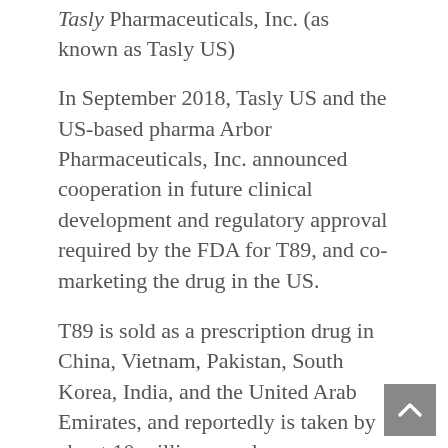Tasly Pharmaceuticals, Inc. (as known as Tasly US)
In September 2018, Tasly US and the US-based pharma Arbor Pharmaceuticals, Inc. announced cooperation in future clinical development and regulatory approval required by the FDA for T89, and co-marketing the drug in the US.
T89 is sold as a prescription drug in China, Vietnam, Pakistan, South Korea, India, and the United Arab Emirates, and reportedly is taken by about 10 million people every year.
Before being put into production and commercialization in the US, other steps must be taken for the drug: